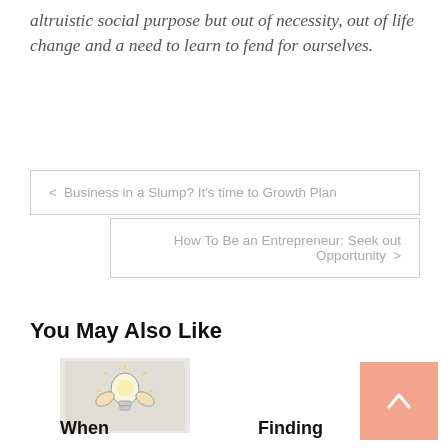altruistic social purpose but out of necessity, out of life change and a need to learn to fend for ourselves.
< Business in a Slump? It's time to Growth Plan
How To Be an Entrepreneur: Seek out Opportunity >
You May Also Like
[Figure (illustration): Small illustration of a lightbulb with hands or wings, appears to be a thumbnail image]
When
Finding